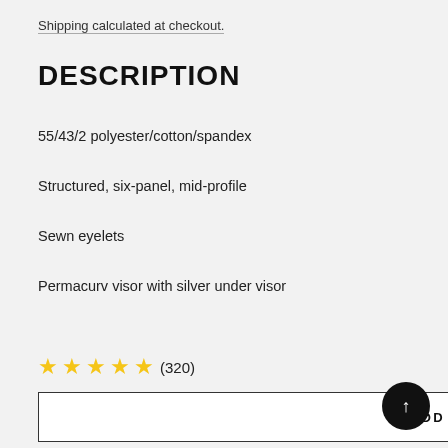Shipping calculated at checkout.
DESCRIPTION
55/43/2 polyester/cotton/spandex
Structured, six-panel, mid-profile
Sewn eyelets
Permacurv visor with silver under visor
★★★★★ (320)
ADD TO CART